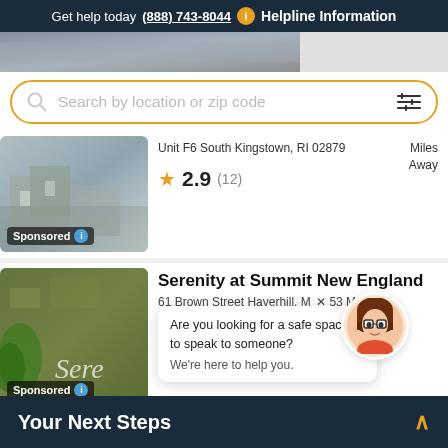Get help today (888) 743-8044 ℹ Helpline Information
[Figure (screenshot): Partial image of a building, cropped at top]
Search by location or zip code
Unit F6 South Kingstown, RI 02879  Miles Away
★ 2.9 (12)
Sponsored
Serenity at Summit New England
61 Brown Street Haverhill, MA  53 M Away
Sponsored
Are you looking for a safe space to speak to someone?
We're here to help you.
Brook Recovery Outpatient
Your Next Steps ∧